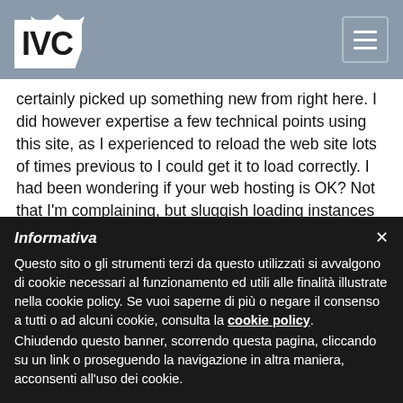IVC [logo with hamburger menu]
certainly picked up something new from right here. I did however expertise a few technical points using this site, as I experienced to reload the web site lots of times previous to I could get it to load correctly. I had been wondering if your web hosting is OK? Not that I'm complaining, but sluggish loading instances times will very frequently affect your placement in google and can damage your quality score if ads and marketing with Adwords. Anyway I'm adding this RSS to my e-mail and could look out for a lot more of your respective exciting content. Ensure that you
Informativa
Questo sito o gli strumenti terzi da questo utilizzati si avvalgono di cookie necessari al funzionamento ed utili alle finalità illustrate nella cookie policy. Se vuoi saperne di più o negare il consenso a tutti o ad alcuni cookie, consulta la cookie policy. Chiudendo questo banner, scorrendo questa pagina, cliccando su un link o proseguendo la navigazione in altra maniera, acconsenti all'uso dei cookie.